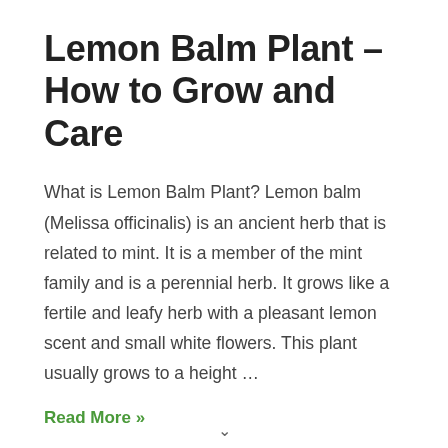Lemon Balm Plant – How to Grow and Care
What is Lemon Balm Plant? Lemon balm (Melissa officinalis) is an ancient herb that is related to mint. It is a member of the mint family and is a perennial herb. It grows like a fertile and leafy herb with a pleasant lemon scent and small white flowers. This plant usually grows to a height …
Read More »